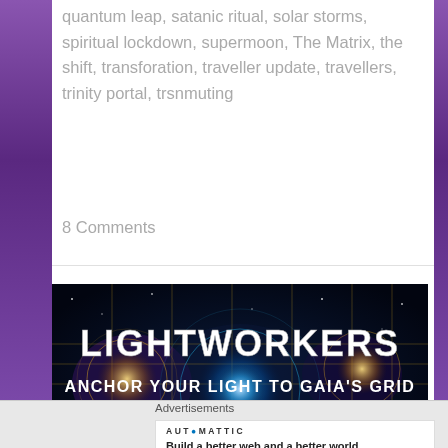quantum leap, satanic ritual, solar storms, spiritual lockdown, supermoon, The Matrix, the shift, transforation, traveller update, travellers, trinity portal, trsnmuting
8 Comments
[Figure (illustration): Dark space/cosmic themed banner image with glowing blue and gold energy grid patterns. Text reads 'LIGHTWORKERS' in large white letters and 'ANCHOR YOUR LIGHT TO GAIA'S GRID' below it, followed by partially visible 'GAME ON' at the bottom.]
Advertisements
AUTOMATTIC
Build a better web and a better world.